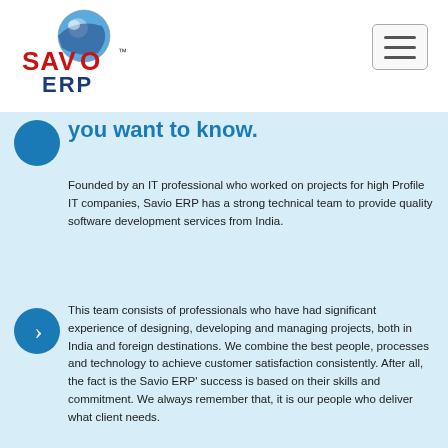[Figure (logo): Savio ERP logo with globe icon, red and blue text reading SAVIO ERP with TM mark]
you want to know.
Founded by an IT professional who worked on projects for high Profile IT companies, Savio ERP has a strong technical team to provide quality software development services from India.
This team consists of professionals who have had significant experience of designing, developing and managing projects, both in India and foreign destinations. We combine the best people, processes and technology to achieve customer satisfaction consistently. After all, the fact is the Savio ERP' success is based on their skills and commitment. We always remember that, it is our people who deliver what client needs.